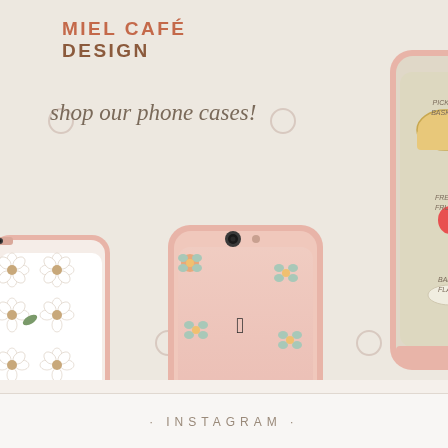[Figure (photo): Promotional banner for Miel Café Design showing three decorative iPhone cases with pink frames: one with white daisy pattern, one with peach/teal floral transparent case, and one with picnic-themed illustrated case showing items labeled lemonade, pickle basket, fresh fruits, baguette, ballet flats, and wild flowers. Background is warm beige with decorative dot circle pattern.]
MIEL CAFÉ DESIGN
shop our phone cases!
· INSTAGRAM ·